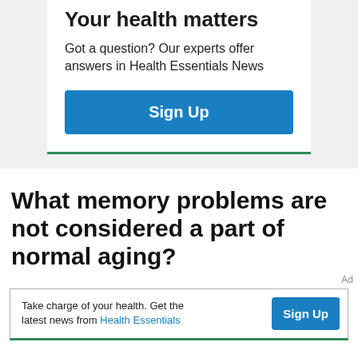Your health matters
Got a question? Our experts offer answers in Health Essentials News
Sign Up
What memory problems are not considered a part of normal aging?
Ad
Take charge of your health. Get the latest news from Health Essentials
Sign Up